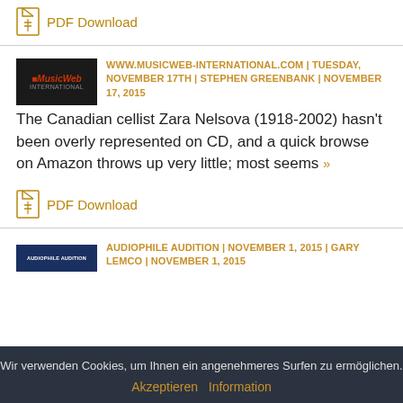PDF Download
WWW.MUSICWEB-INTERNATIONAL.COM | TUESDAY, NOVEMBER 17TH | STEPHEN GREENBANK | NOVEMBER 17, 2015
The Canadian cellist Zara Nelsova (1918-2002) hasn't been overly represented on CD, and a quick browse on Amazon throws up very little; most seems »
PDF Download
AUDIOPHILE AUDITION | NOVEMBER 1, 2015 | GARY LEMCO | NOVEMBER 1, 2015
Wir verwenden Cookies, um Ihnen ein angenehmeres Surfen zu ermöglichen.
Akzeptieren Information